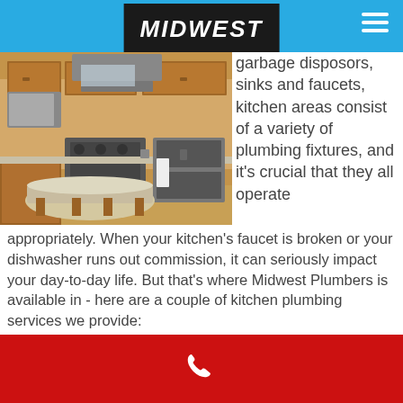MIDWEST
[Figure (photo): Kitchen interior with wood cabinets, granite island countertop, and stainless steel appliances]
garbage disposors, sinks and faucets, kitchen areas consist of a variety of plumbing fixtures, and it's crucial that they all operate appropriately. When your kitchen's faucet is broken or your dishwasher runs out commission, it can seriously impact your day-to-day life. But that's where Midwest Plumbers is available in - here are a couple of kitchen plumbing services we provide:
Kitchen Plumbing Services